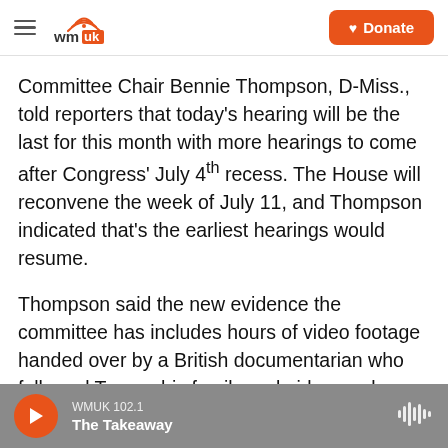WMUK — Donate
Committee Chair Bennie Thompson, D-Miss., told reporters that today's hearing will be the last for this month with more hearings to come after Congress' July 4th recess. The House will reconvene the week of July 11, and Thompson indicated that's the earliest hearings would resume.
Thompson said the new evidence the committee has includes hours of video footage handed over by a British documentarian who followed Trump, his family and aides, and conducted interviews with them, for weeks before and after the 2020 election.
WMUK 102.1 — The Takeaway